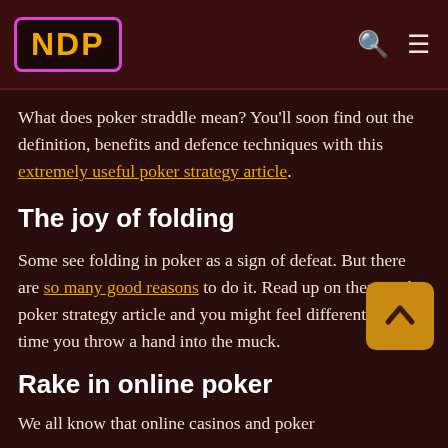NDP
What does poker straddle mean? You'll soon find out the definition, benefits and defence techniques with this extremely useful poker strategy article.
The joy of folding
Some see folding in poker as a sign of defeat. But there are so many good reasons to do it. Read up on them in this poker strategy article and you might feel different next time you throw a hand into the muck.
Rake in online poker
We all know that online casinos and poker